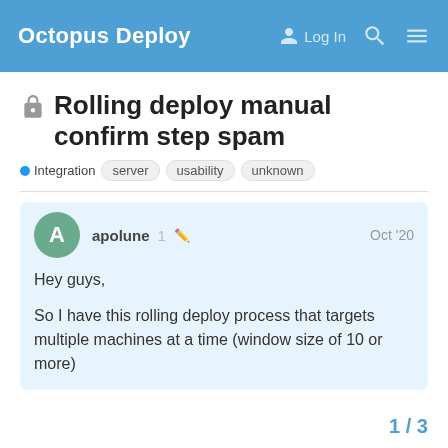Octopus Deploy  Log In
Rolling deploy manual confirm step spam
Integration  server  usability  unknown
apolune  1  Oct '20
Hey guys,

So I have this rolling deploy process that targets multiple machines at a time (window size of 10 or more)
1 / 3